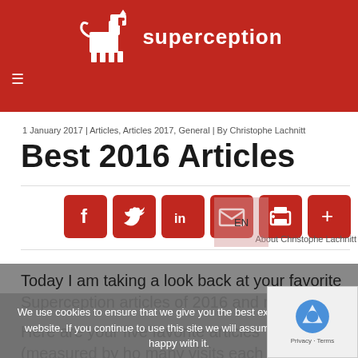[Figure (logo): Superception website header with red background, Trojan horse logo and 'superception' text in white]
1 January 2017 | Articles, Articles 2017, General | By Christophe Lachnitt
Best 2016 Articles
[Figure (infographic): Social sharing buttons row: Facebook, Twitter, LinkedIn, Email, Print, More - all in red rounded squares with white icons]
About Christophe Lachnitt
Today I am taking a look back at your favorite Superception articles of 2016 and mine.
Here are your five favorite articles (measured by how many visits each received):